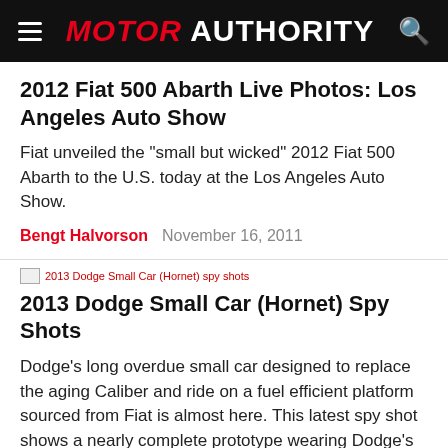MOTOR AUTHORITY
2012 Fiat 500 Abarth Live Photos: Los Angeles Auto Show
Fiat unveiled the "small but wicked" 2012 Fiat 500 Abarth to the U.S. today at the Los Angeles Auto Show.
Bengt Halvorson   November 16, 2011
[Figure (photo): Broken image placeholder for '2013 Dodge Small Car (Hornet) spy shots']
2013 Dodge Small Car (Hornet) Spy Shots
Dodge's long overdue small car designed to replace the aging Caliber and ride on a fuel efficient platform sourced from Fiat is almost here. This latest spy shot shows a nearly complete prototype wearing Dodge's trademark crosshair grille and sitting at one of the automaker's test...